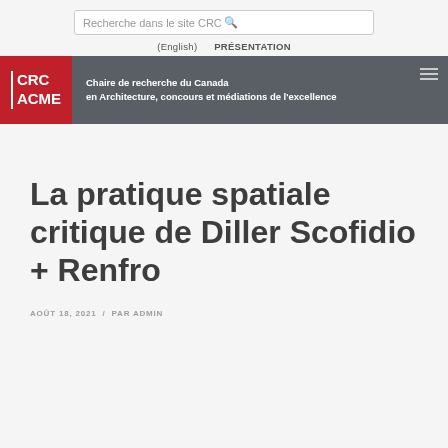Recherche dans le site CRC
(English)   PRÉSENTATION
[Figure (logo): CRC ACME logo with red background block and grey banner reading 'Chaire de recherche du Canada en Architecture, concours et médiations de l'excellence']
La pratique spatiale critique de Diller Scofidio + Renfro
AOÛT 18, 2021   /   PAR ADMIN